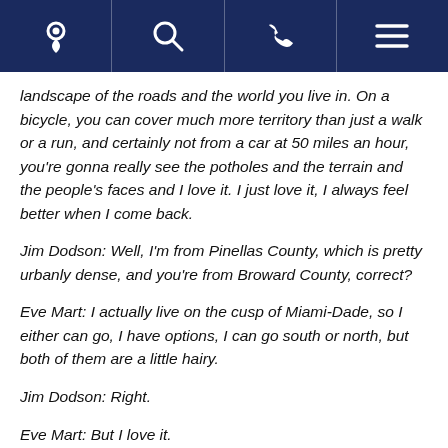Navigation bar with location, search, phone, and menu icons
landscape of the roads and the world you live in. On a bicycle, you can cover much more territory than just a walk or a run, and certainly not from a car at 50 miles an hour, you're gonna really see the potholes and the terrain and the people's faces and I love it. I just love it, I always feel better when I come back.
Jim Dodson: Well, I'm from Pinellas County, which is pretty urbanly dense, and you're from Broward County, correct?
Eve Mart: I actually live on the cusp of Miami-Dade, so I either can go, I have options, I can go south or north, but both of them are a little hairy.
Jim Dodson: Right.
Eve Mart: But I love it.
Jim Dodson: You deal with traffic a lot, and currently I know you're a 10,000 mile per year rider, is that correct?